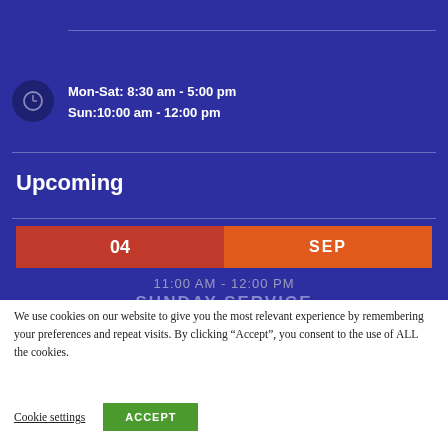Mon-Sat: 8:30 am - 5:00 pm
Sun:10:00 am - 12:00 pm
Upcoming
04 SEP
11:00 AM - 12:00 PM
SUNDAY SERVICE
We use cookies on our website to give you the most relevant experience by remembering your preferences and repeat visits. By clicking “Accept”, you consent to the use of ALL the cookies.
Cookie settings
ACCEPT